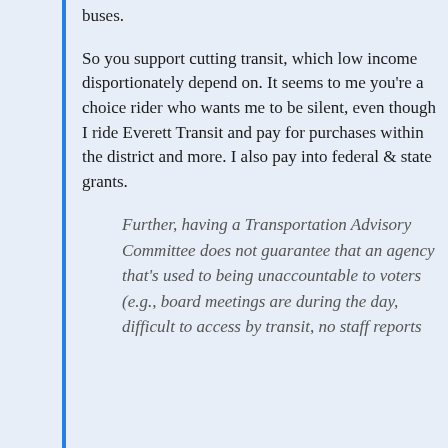buses.
So you support cutting transit, which low income disportionately depend on. It seems to me you're a choice rider who wants me to be silent, even though I ride Everett Transit and pay for purchases within the district and more. I also pay into federal & state grants.
Further, having a Transportation Advisory Committee does not guarantee that an agency that's used to being unaccountable to voters (e.g., board meetings are during the day, difficult to access by transit, no staff reports